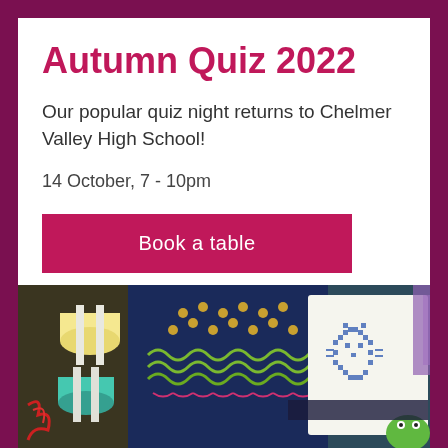Autumn Quiz 2022
Our popular quiz night returns to Chelmer Valley High School!
14 October, 7 - 10pm
Book a table
[Figure (photo): Close-up photo of embroidery and craft supplies including thread spools, needlework fabric with cross-stitch patterns, and colorful embroidery threads arranged on a dark background.]